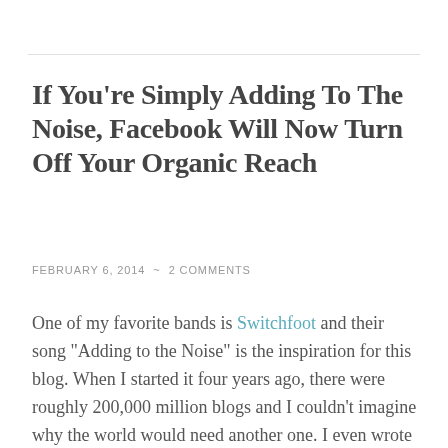If You're Simply Adding To The Noise, Facebook Will Now Turn Off Your Organic Reach
FEBRUARY 6, 2014  ~  2 COMMENTS
One of my favorite bands is Switchfoot and their song "Adding to the Noise" is the inspiration for this blog. When I started it four years ago, there were roughly 200,000 million blogs and I couldn't imagine why the world would need another one. I even wrote a post  "The Last Thing We Need Is Another Blog." Ultimately this question lead me to the debate